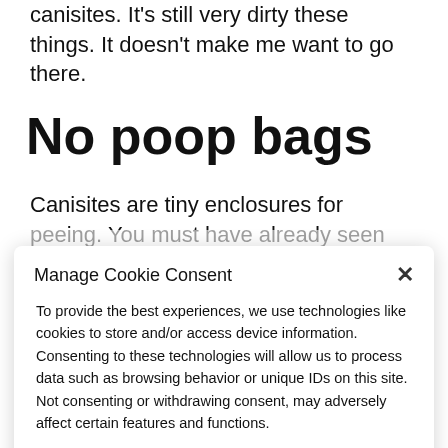canisites. It's still very dirty these things. It doesn't make me want to go there.
No poop bags
Canisites are tiny enclosures for peeing. You must have already seen them, there are 139 in Strasbourg. Besides dad always groans
Manage Cookie Consent
To provide the best experiences, we use technologies like cookies to store and/or access device information. Consenting to these technologies will allow us to process data such as browsing behavior or unique IDs on this site. Not consenting or withdrawing consent, may adversely affect certain features and functions.
Accept
Cookie Policy